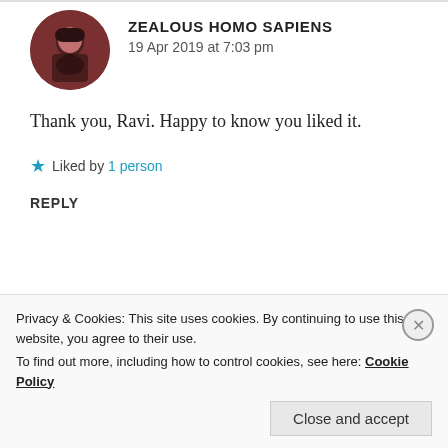ZEALOUS HOMO SAPIENS
19 Apr 2019 at 7:03 pm
Thank you, Ravi. Happy to know you liked it.
★ Liked by 1 person
REPLY
RAVISINGH
Privacy & Cookies: This site uses cookies. By continuing to use this website, you agree to their use.
To find out more, including how to control cookies, see here: Cookie Policy
Close and accept